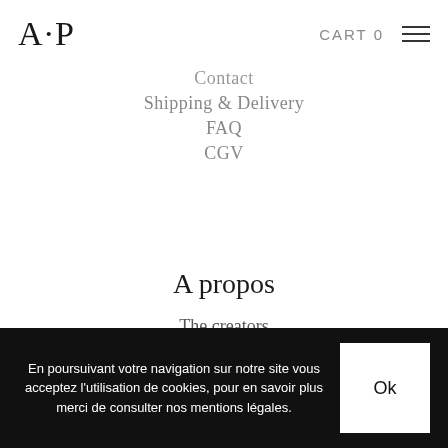A·P  CART 0
Contact
Shipping & Delivery
FAQ
CGV
A propos
The creators
Points de vente
Legal Notice
En poursuivant votre navigation sur notre site vous acceptez l'utilisation de cookies, pour en savoir plus merci de consulter nos mentions légales.
Ok